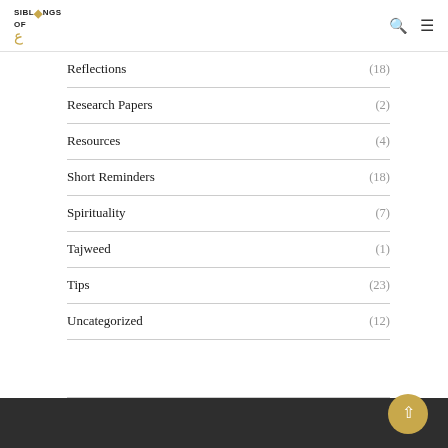SIBLINGS OF ILM
Reflections (18)
Research Papers (2)
Resources (4)
Short Reminders (18)
Spirituality (7)
Tajweed (1)
Tips (23)
Uncategorized (12)